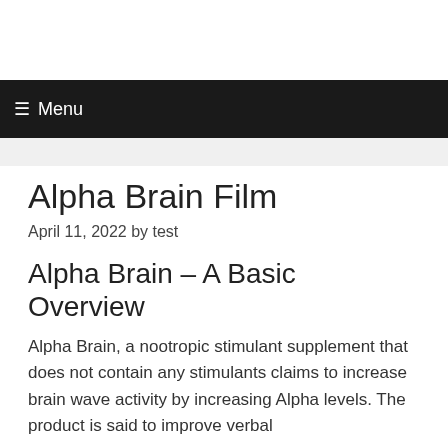☰ Menu
Alpha Brain Film
April 11, 2022 by test
Alpha Brain – A Basic Overview
Alpha Brain, a nootropic stimulant supplement that does not contain any stimulants claims to increase brain wave activity by increasing Alpha levels. The product is said to improve verbal